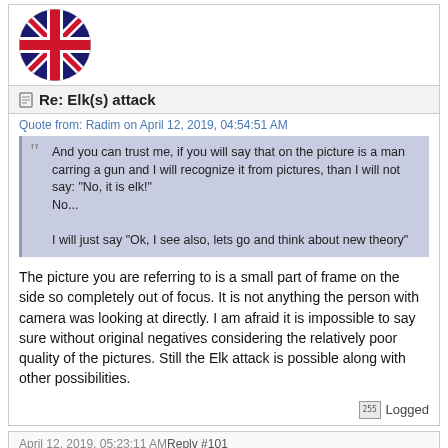[Figure (illustration): UK flag circular avatar at top of post]
Re: Elk(s) attack
Quote from: Radim on April 12, 2019, 04:54:51 AM
And you can trust me, if you will say that on the picture is a man carring a gun and I will recognize it from pictures, than I will not say: "No, it is elk!"
No...

I will just say "Ok, I see also, lets go and think about new theory"
The picture you are referring to is a small part of frame on the side so completely out of focus. It is not anything the person with camera was looking at directly. I am afraid it is impossible to say sure without original negatives considering the relatively poor quality of the pictures. Still the Elk attack is possible along with other possibilities.
Logged
April 12, 2019, 05:23:11 AM Reply #101
[Figure (photo): Circular avatar showing a person silhouette against a light background]
Morski